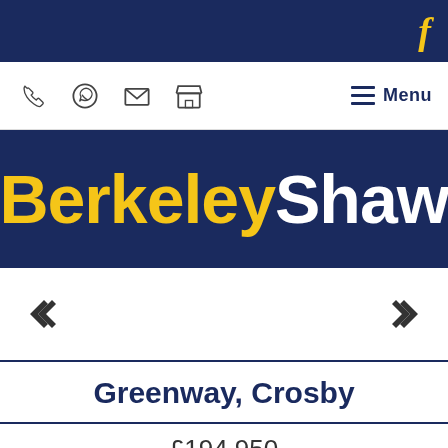f
[Figure (screenshot): Navigation bar with phone, WhatsApp, email, store icons and hamburger menu]
BerkeleyShaw
[Figure (other): Property image carousel with left and right arrow navigation]
Greenway, Crosby
£194,950